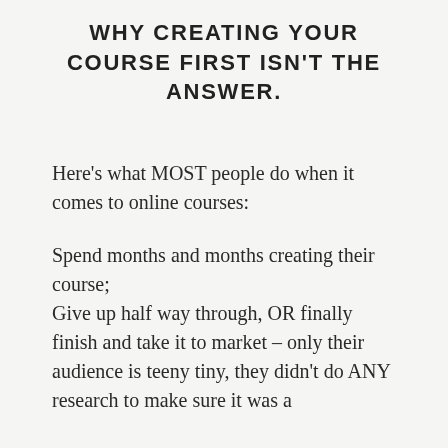WHY CREATING YOUR COURSE FIRST ISN'T THE ANSWER.
Here's what MOST people do when it comes to online courses:
Spend months and months creating their course; Give up half way through, OR finally finish and take it to market – only their audience is teeny tiny, they didn't do ANY research to make sure it was a